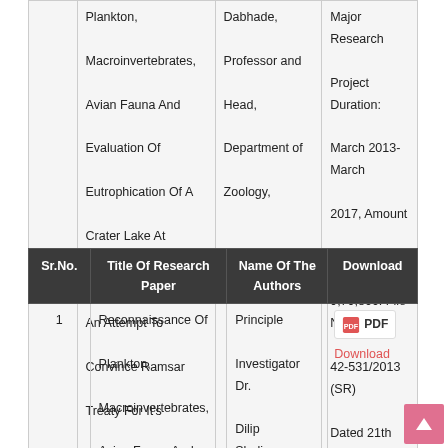|  | Title | Authors | Details |
| --- | --- | --- | --- |
|  | Plankton, Macroinvertebrates, Avian Fauna And Evaluation Of Eutrophication Of A Crater Lake At Lonar, Maharashtra: An Attempt To Convince Ramsar Treaty For It's Conservation " | Dabhade, Professor and Head, Department of Zoology, | Major Research Project Duration: March 2013- March 2017, Amount Allotted-Rs. 9,70,800. File No. . 42-531/2013 (SR) Dated 21th March, 2013 |
| Sr.No. | Title Of Research Paper | Name Of The Authors | Download |
| --- | --- | --- | --- |
| 1 | Reconnaissance Of Plankton, Macroinvertebrates, Avian Fauna And | Principle Investigator Dr. Dilip Shaligram Dabhade | PDF Download |